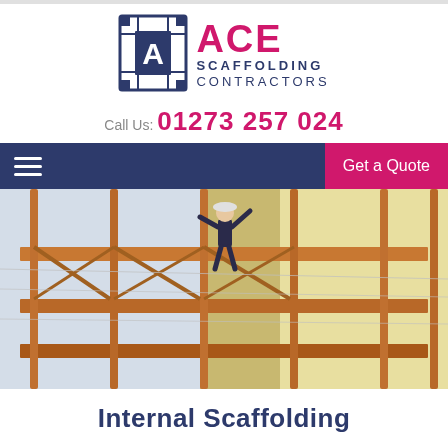[Figure (logo): ACE Scaffolding Contractors logo with scaffold frame icon, ACE in pink and SCAFFOLDING CONTRACTORS in navy blue]
Call Us: 01273 257 024
[Figure (screenshot): Navigation bar with hamburger menu icon on left (white lines on navy background) and 'Get a Quote' button on right (pink background)]
[Figure (photo): Worker on scaffolding on the exterior of a building, metal orange scaffolding poles visible, yellow and white building facade in background]
Internal Scaffolding